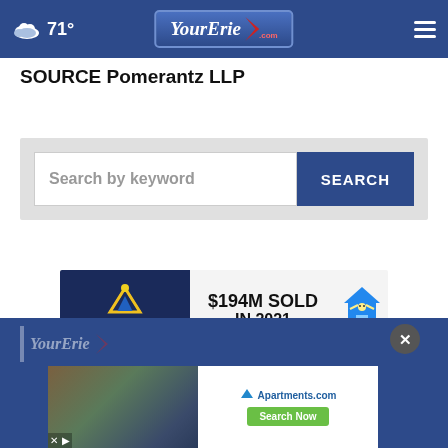71° YourErie.com
SOURCE Pomerantz LLP
[Figure (screenshot): Search bar with text input placeholder 'Search by keyword' and a dark blue SEARCH button]
[Figure (screenshot): Agresti Real Estate advertisement banner: $194M SOLD IN 2021]
[Figure (screenshot): Bottom footer area with YourErie.com logo, close X button, and Apartments.com advertisement with photo of apartment building and Search Now button]